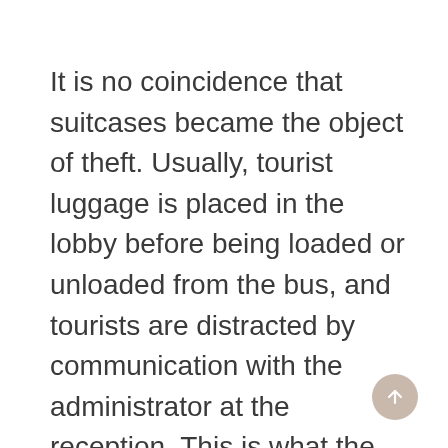It is no coincidence that suitcases became the object of theft. Usually, tourist luggage is placed in the lobby before being loaded or unloaded from the bus, and tourists are distracted by communication with the administrator at the reception. This is what the thieves used.
[Figure (other): A circular scroll-to-top button with a beige/tan background and an upward-pointing arrow icon, positioned in the bottom-right corner.]